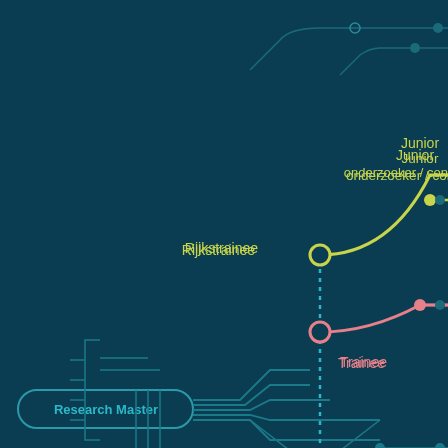[Figure (flowchart): Career path diagram styled as a metro/subway map on a dark teal background. Shows paths from 'Research Master' node (left, teal rounded rectangle) branching into multiple tracks: a yellow-green line going up-right to 'Rijkstrainee' station then curving to 'Junior onderzoeker / consultant' (top right); a pink/salmon line going from a 'Trainee' station to 'Junior onderzoeker / consultant' (middle right); a dotted teal vertical line going downward; and teal lines branching to the lower right. Circular station markers are shown at junction points.]